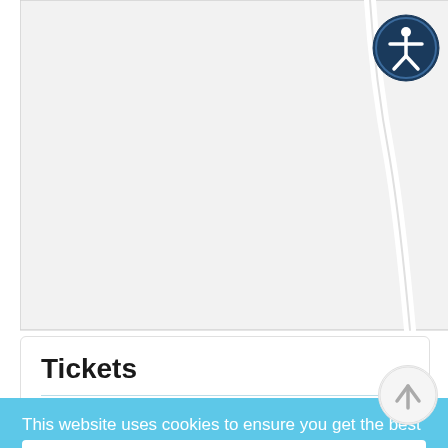[Figure (map): Street map showing 'Old Wagon Rd' with a curved road on a light gray background]
[Figure (other): Circular accessibility icon button with white person figure on dark navy blue background, top right corner]
Tickets
This website uses cookies to ensure you get the best experience on our website.
Learn more
Got it!